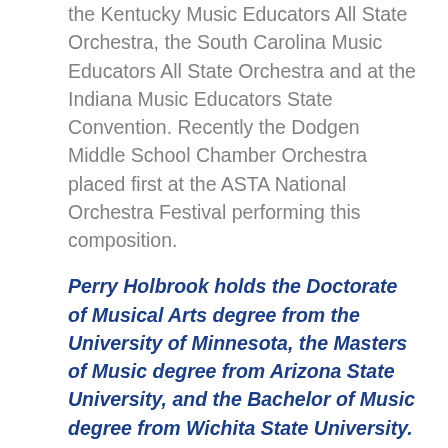the Kentucky Music Educators All State Orchestra, the South Carolina Music Educators All State Orchestra and at the Indiana Music Educators State Convention. Recently the Dodgen Middle School Chamber Orchestra placed first at the ASTA National Orchestra Festival performing this composition.
Perry Holbrook holds the Doctorate of Musical Arts degree from the University of Minnesota, the Masters of Music degree from Arizona State University, and the Bachelor of Music degree from Wichita State University.  He received his teaching credentials from the University of Georgia. Dr. Holbrook lives in Atlanta, Georgia. His daughter Bailey is freelance cellist. In his free time, he can usually be found outdoors hiking with a camera in his hand.